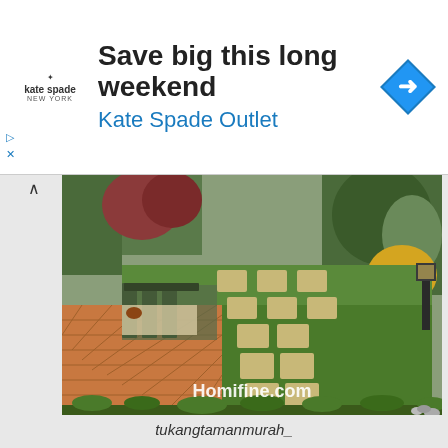[Figure (infographic): Advertisement banner for Kate Spade Outlet with logo, headline 'Save big this long weekend', subline 'Kate Spade Outlet', and a blue direction arrow icon]
[Figure (photo): Garden photo showing a medium-sized home garden with stepping stones on green grass, brick patio, garden chairs, tropical plants and shrubs. Watermark 'Homifine.com' in bottom right.]
tukangtamanmurah_
With an open concept without shade, a medium-sized home garden can look attractive with complete